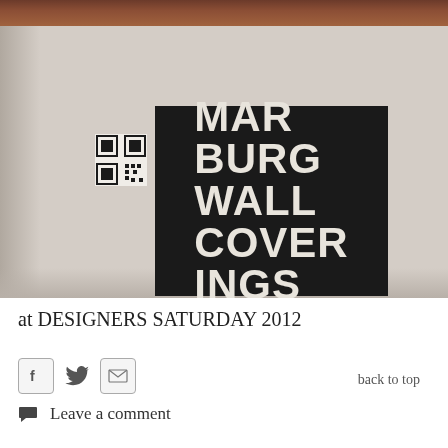[Figure (photo): Photograph of a wall-mounted black sign reading 'MARBURG WALL COVERINGS' with a QR code to the left, displayed at Designers Saturday 2012 exhibition. Background is a light grey/beige wall with angled perspective view.]
at DESIGNERS SATURDAY 2012
Leave a comment
back to top